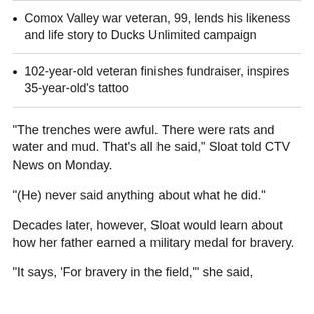Comox Valley war veteran, 99, lends his likeness and life story to Ducks Unlimited campaign
102-year-old veteran finishes fundraiser, inspires 35-year-old's tattoo
"The trenches were awful. There were rats and water and mud. That's all he said," Sloat told CTV News on Monday.
"(He) never said anything about what he did."
Decades later, however, Sloat would learn about how her father earned a military medal for bravery.
"It says, 'For bravery in the field,'" she said,